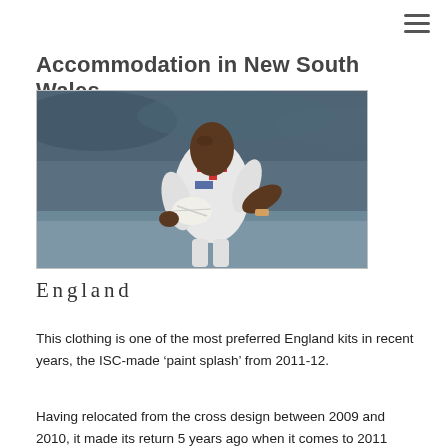Accommodation in New South Wales
[Figure (photo): A rugby league player in a white England kit with a red cross design, holding a ball and running, with a crowd blurred in the background.]
England
This clothing is one of the most preferred England kits in recent years, the ISC-made ‘paint splash’ from 2011-12.
Having relocated from the cross design between 2009 and 2010, it made its return 5 years ago when it comes to 2011